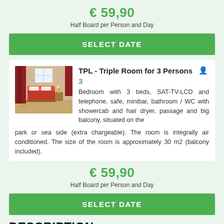€ 59,90
Half Board per Person and Day
SELECT DATE
[Figure (photo): Hotel triple room interior with beds and red curtains]
TPL - Triple Room for 3 Persons  👤 3
Bedroom with 3 beds, SAT-TV-LCD and telephone, safe, minibar, bathroom / WC with showercab and hair dryer, passage and big balcony, situated on the park or sea side (extra chargeable). The room is integrally air conditioned. The size of the room is approximately 30 m2 (balcony included).
€ 59,90
Half Board per Person and Day
SELECT DATE
DESCRIPTION